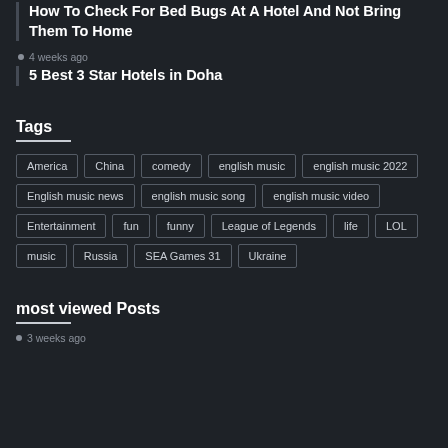How To Check For Bed Bugs At A Hotel And Not Bring Them To Home
4 weeks ago
5 Best 3 Star Hotels in Doha
Tags
America
China
comedy
english music
english music 2022
English music news
english music song
english music video
Entertainment
fun
funny
League of Legends
life
LOL
music
Russia
SEA Games 31
Ukraine
most viewed Posts
3 weeks ago